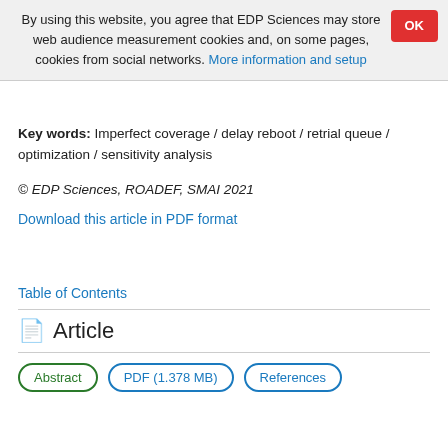By using this website, you agree that EDP Sciences may store web audience measurement cookies and, on some pages, cookies from social networks. More information and setup
Key words: Imperfect coverage / delay reboot / retrial queue / optimization / sensitivity analysis
© EDP Sciences, ROADEF, SMAI 2021
Download this article in PDF format
Table of Contents
Article
Abstract | PDF (1.378 MB) | References